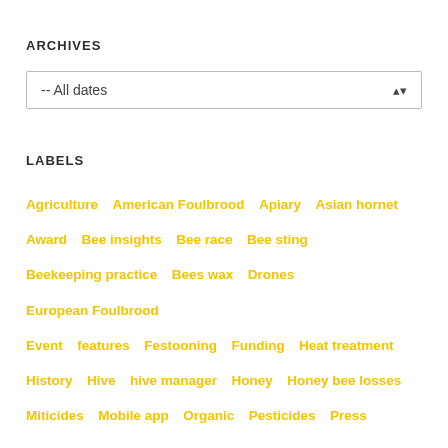ARCHIVES
-- All dates
LABELS
Agriculture
American Foulbrood
Apiary
Asian hornet
Award
Bee insights
Bee race
Bee sting
Beekeeping practice
Bees wax
Drones
European Foulbrood
Event
features
Festooning
Funding
Heat treatment
History
Hive
hive manager
Honey
Honey bee losses
Miticides
Mobile app
Organic
Pesticides
Press